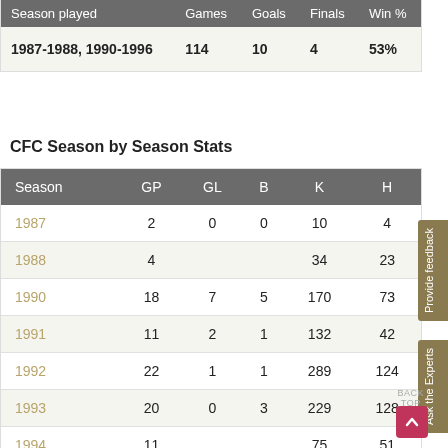| Season played | Games | Goals | Finals | Win % |
| --- | --- | --- | --- | --- |
| 1987-1988, 1990-1996 | 114 | 10 | 4 | 53% |
CFC Season by Season Stats
| Season | GP | GL | B | K | H |
| --- | --- | --- | --- | --- | --- |
| 1987 | 2 | 0 | 0 | 10 | 4 |
| 1988 | 4 |  |  | 34 | 23 |
| 1990 | 18 | 7 | 5 | 170 | 73 |
| 1991 | 11 | 2 | 1 | 132 | 42 |
| 1992 | 22 | 1 | 1 | 289 | 124 |
| 1993 | 20 | 0 | 3 | 229 | 128 |
| 1994 | 11 |  |  | 75 | 51 |
| 1995 | 21 | 0 | 0 | 175 | 75 |
| 1996 | 5 |  | 1 | 32 | 16 |